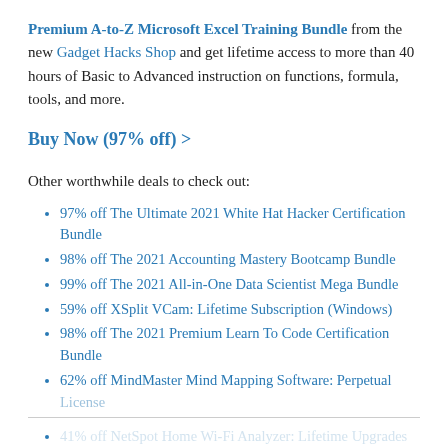Premium A-to-Z Microsoft Excel Training Bundle from the new Gadget Hacks Shop and get lifetime access to more than 40 hours of Basic to Advanced instruction on functions, formula, tools, and more.
Buy Now (97% off) >
Other worthwhile deals to check out:
97% off The Ultimate 2021 White Hat Hacker Certification Bundle
98% off The 2021 Accounting Mastery Bootcamp Bundle
99% off The 2021 All-in-One Data Scientist Mega Bundle
59% off XSplit VCam: Lifetime Subscription (Windows)
98% off The 2021 Premium Learn To Code Certification Bundle
62% off MindMaster Mind Mapping Software: Perpetual License
41% off NetSpot Home Wi-Fi Analyzer: Lifetime Upgrades